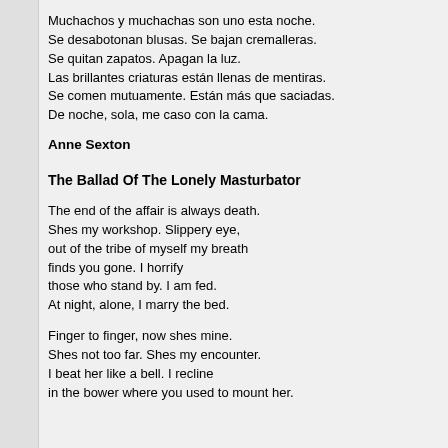Muchachos y muchachas son uno esta noche.
Se desabotonan blusas. Se bajan cremalleras.
Se quitan zapatos. Apagan la luz.
Las brillantes criaturas están llenas de mentiras.
Se comen mutuamente. Están más que saciadas.
De noche, sola, me caso con la cama.
Anne Sexton
The Ballad Of The Lonely Masturbator
The end of the affair is always death.
Shes my workshop. Slippery eye,
out of the tribe of myself my breath
finds you gone. I horrify
those who stand by. I am fed.
At night, alone, I marry the bed.
Finger to finger, now shes mine.
Shes not too far. Shes my encounter.
I beat her like a bell. I recline
in the bower where you used to mount her.